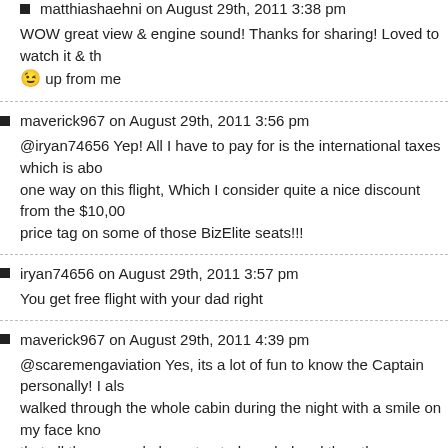matthiashaehni on August 29th, 2011 3:38 pm
WOW great view & engine sound! Thanks for sharing! Loved to watch it & th… 😉 up from me
maverick967 on August 29th, 2011 3:56 pm
@iryan74656 Yep! All I have to pay for is the international taxes which is abo… one way on this flight, Which I consider quite a nice discount from the $10,00… price tag on some of those BizElite seats!!!
iryan74656 on August 29th, 2011 3:57 pm
You get free flight with your dad right
maverick967 on August 29th, 2011 4:39 pm
@scaremengaviation Yes, its a lot of fun to know the Captain personally! I al… walked through the whole cabin during the night with a smile on my face kno… that all these people have trusted my dad and the other crew members to tak… them on such a long journey.
scaremengaviation on August 29th, 2011 5:29 pm